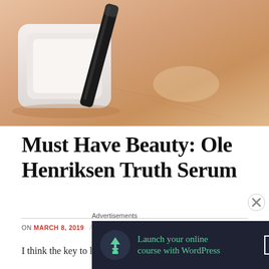[Figure (photo): Close-up photo of cosmetic/beauty products on skin-toned background. Shows a white compact and dark pencil/eyeliner on beige/skin-colored surface.]
Must Have Beauty: Ole Henriksen Truth Serum
ON MARCH 8, 2019 / BY CRAVENWILD / 4 COMMENTS
I think the key to looking good is making sure your
[Figure (other): Advertisement banner: 'Launch your online course with WordPress' with Learn More button. Dark navy background with teal text and tree icon.]